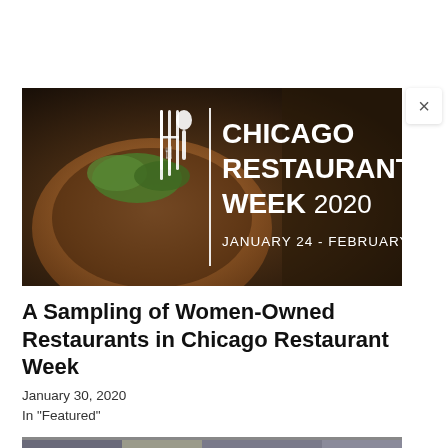[Figure (photo): Chicago Restaurant Week 2020 promotional banner with food bowl photo, white logo with fork/spoon icon, bold text reading CHICAGO RESTAURANT WEEK 2020, and text JANUARY 24 - FEBRUARY 9]
A Sampling of Women-Owned Restaurants in Chicago Restaurant Week
January 30, 2020
In "Featured"
[Figure (photo): Street photo of people, partially visible at the bottom of the page]